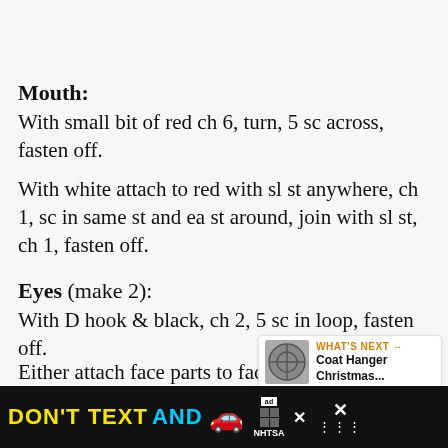Mouth:
With small bit of red ch 6, turn, 5 sc across, fasten off.
With white attach to red with sl st anywhere, ch 1, sc in same st and ea st around, join with sl st, ch 1, fasten off.
Eyes (make 2):
With D hook & black, ch 2, 5 sc in loop, fasten off.
Either attach face parts to face with ends of face parts, or...